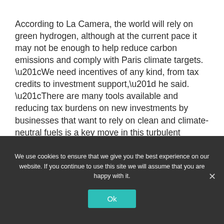According to La Camera, the world will rely on green hydrogen, although at the current pace it may not be enough to help reduce carbon emissions and comply with Paris climate targets. “We need incentives of any kind, from tax credits to investment support,” he said. “There are many tools available and reducing tax burdens on new investments by businesses that want to rely on clean and climate-neutral fuels is a key move in this turbulent transition phase.”
La Camera suggested a granular approach
We use cookies to ensure that we give you the best experience on our website. If you continue to use this site we will assume that you are happy with it.